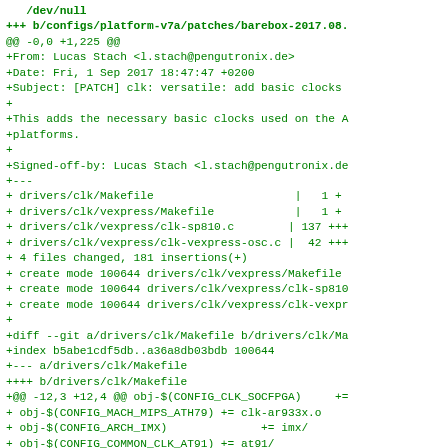/dev/null
+++ b/configs/platform-v7a/patches/barebox-2017.08.
@@ -0,0 +1,225 @@
+From: Lucas Stach <l.stach@pengutronix.de>
+Date: Fri, 1 Sep 2017 18:47:47 +0200
+Subject: [PATCH] clk: versatile: add basic clocks
+
+This adds the necessary basic clocks used on the A
+platforms.
+
+Signed-off-by: Lucas Stach <l.stach@pengutronix.de
+---
+ drivers/clk/Makefile                              |   1 +
+ drivers/clk/vexpress/Makefile                     |   1 +
+ drivers/clk/vexpress/clk-sp810.c                  | 137 +++
+ drivers/clk/vexpress/clk-vexpress-osc.c | 42 +++
+ 4 files changed, 181 insertions(+)
+ create mode 100644 drivers/clk/vexpress/Makefile
+ create mode 100644 drivers/clk/vexpress/clk-sp810
+ create mode 100644 drivers/clk/vexpress/clk-vexpr
+
+diff --git a/drivers/clk/Makefile b/drivers/clk/Ma
+index b5abe1cdf5db..a36a8db03bdb 100644
+--- a/drivers/clk/Makefile
++++ b/drivers/clk/Makefile
+@@ -12,3 +12,4 @@ obj-$(CONFIG_CLK_SOCFPGA)      +=
+ obj-$(CONFIG_MACH_MIPS_ATH79) += clk-ar933x.o
+ obj-$(CONFIG_ARCH_IMX)              += imx/
+ obj-$(CONFIG_COMMON_CLK_AT91) += at91/
+++obj-$(CONFIG_MACH_VEXPRESS)    += vexpress/
++diff --git a/drivers/clk/vexpress/Makefile b/drive